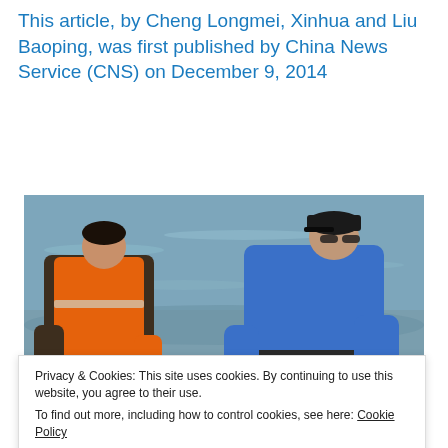This article, by Cheng Longmei, Xinhua and Liu Baoping, was first published by China News Service (CNS) on December 9, 2014
[Figure (photo): Two people standing in shallow water handling a large Chinese sturgeon. Person on left wears an orange life vest over a dark jacket. Person on right wears a blue jacket and dark cap. A large pale-colored sturgeon is visible in the water between them.]
Privacy & Cookies: This site uses cookies. By continuing to use this website, you agree to their use.
To find out more, including how to control cookies, see here: Cookie Policy
Chinese sturgeon is pulled from the river in Nanchang,